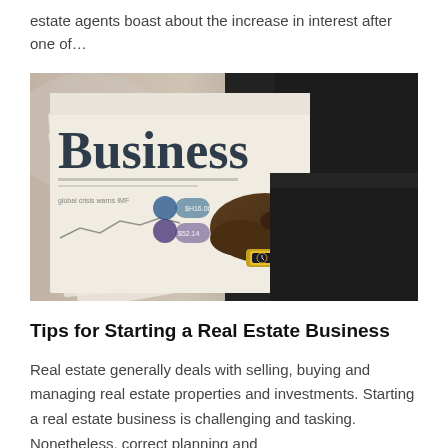estate agents boast about the increase in interest after one of…
[Figure (photo): A person in a business suit holding and reading a business newspaper with 'Business' prominently displayed on the front page, wearing a gold watch.]
Tips for Starting a Real Estate Business
Real estate generally deals with selling, buying and managing real estate properties and investments. Starting a real estate business is challenging and tasking. Nonetheless, correct planning and